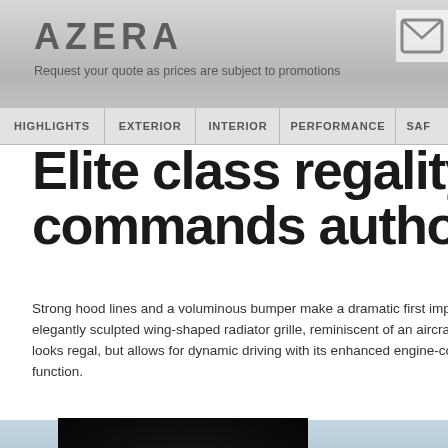AZERA
Request your quote as prices are subject to promotions
HIGHLIGHTS | EXTERIOR | INTERIOR | PERFORMANCE | SAF
Elite class regality, commands authority
Strong hood lines and a voluminous bumper make a dramatic first impression. An elegantly sculpted wing-shaped radiator grille, reminiscent of an aircraft's, not only looks regal, but allows for dynamic driving with its enhanced engine-cooling function.
[Figure (photo): Video thumbnail showing Azera radiator grille in dark/moody lighting with play button overlay and caption 'Radiator grille']
[Figure (photo): Background photo showing a private jet on a tarmac with a white luxury sedan (Azera) parked nearby, man exiting the plane]